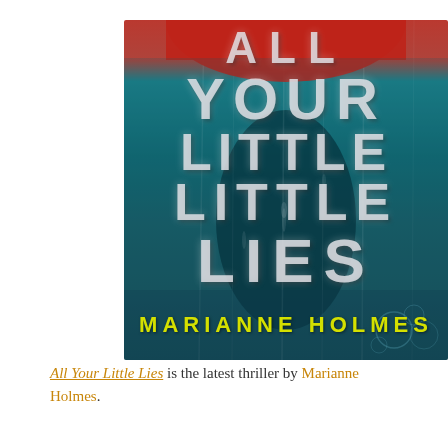[Figure (illustration): Book cover for 'All Your Little Lies' by Marianne Holmes. Dark thriller cover with teal/dark background suggesting rain-streaked glass with a silhouette behind it. A red umbrella is partially visible at the top. The title 'ALL YOUR LITTLE LIES' appears in large, semi-transparent white capital letters. The author name 'MARIANNE HOLMES' appears at the bottom in yellow-green uppercase letters.]
All Your Little Lies is the latest thriller by Marianne Holmes.